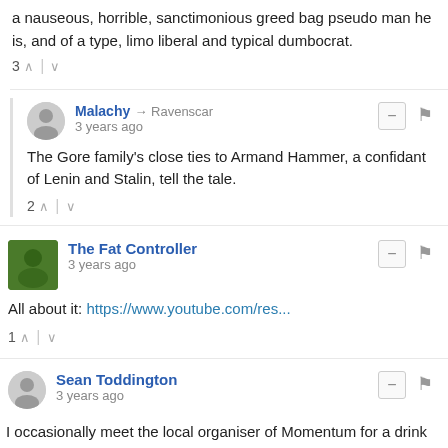a nauseous, horrible, sanctimonious greed bag pseudo man he is, and of a type, limo liberal and typical dumbocrat.
3 ^ | v
Malachy → Ravenscar
3 years ago
The Gore family's close ties to Armand Hammer, a confidant of Lenin and Stalin, tell the tale.
2 ^ | v
The Fat Controller
3 years ago
All about it: https://www.youtube.com/res...
1 ^ | v
Sean Toddington
3 years ago
I occasionally meet the local organiser of Momentum for a drink and a friendly debate about politics. When he has had a few and speaks unguardedly, he has told me that promoting the trans and gender fluid agenda is their number one priority. They recognise